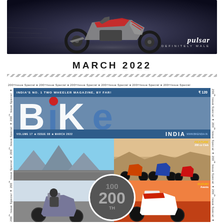[Figure (photo): Bajaj Pulsar motorcycle advertisement photo showing a dark sportbike on a road with motion blur, 'pulsar DEFINITELY MALE' logo in bottom right]
MARCH 2022
[Figure (photo): Bike India magazine cover - 200th Issue Special. India's No. 1 Two Wheeler Magazine, By Far. Volume 17, Issue 08, March 2022. Shows BiKe India logo, multiple motorcycle photos including Comparo Multi-cylinder Mayhem, Feature 200 cc Club, Suzuki Avenis, and 200th issue anniversary circle badge.]